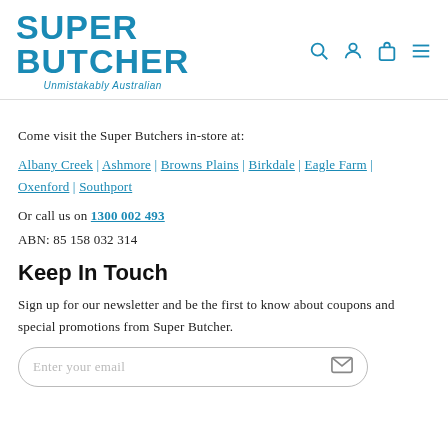[Figure (logo): Super Butcher logo with 'Unmistakably Australian' tagline in blue]
Come visit the Super Butchers in-store at:
Albany Creek | Ashmore | Browns Plains | Birkdale | Eagle Farm | Oxenford | Southport
Or call us on 1300 002 493
ABN: 85 158 032 314
Keep In Touch
Sign up for our newsletter and be the first to know about coupons and special promotions from Super Butcher.
Enter your email